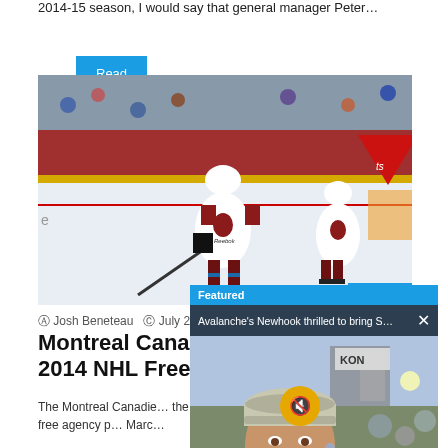2014-15 season, I would say that general manager Peter…
Read More »
[Figure (photo): NHL hockey players in Colorado Avalanche uniforms on ice during a game. Featured badge visible in bottom right.]
Josh Beneteau   July 2…
Montreal Cana… 2014 NHL Free …
The Montreal Canadie… the NHL free agency p… Marc…
[Figure (photo): Featured popup overlay: 'Avalanche's Newhook thrilled to bring S…' with video thumbnail of young man in baseball cap being interviewed outdoors.]